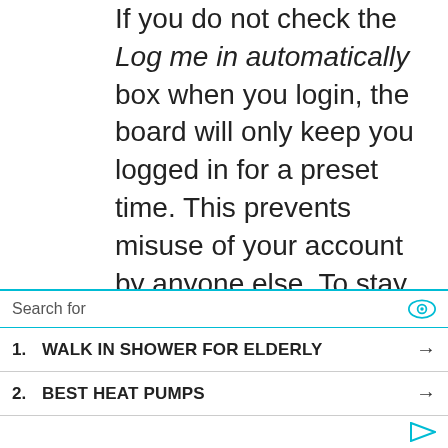If you do not check the Log me in automatically box when you login, the board will only keep you logged in for a preset time. This prevents misuse of your account by anyone else. To stay logged in, check the box during login. This is not recommended if you access the board from a shared computer, e.g. library, internet cafe, university computer lab, etc. If you do not see this checkbox, it means the board
Search for
1. WALK IN SHOWER FOR ELDERLY
2. BEST HEAT PUMPS